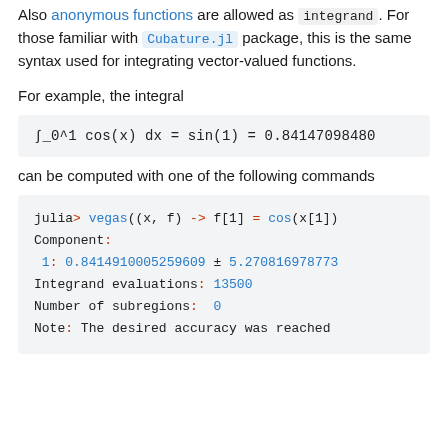Also anonymous functions are allowed as integrand. For those familiar with Cubature.jl package, this is the same syntax used for integrating vector-valued functions.
For example, the integral
can be computed with one of the following commands
julia> vegas((x, f) -> f[1] = cos(x[1])
Component:
 1: 0.8414910005259609 ± 5.270816978773...
Integrand evaluations: 13500
Number of subregions:  0
Note: The desired accuracy was reached